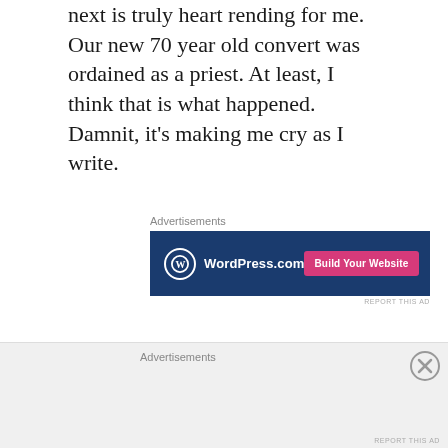next is truly heart rending for me. Our new 70 year old convert was ordained as a priest. At least, I think that is what happened. Damnit, it's making me cry as I write.
[Figure (screenshot): WordPress.com advertisement banner with blue background, WordPress logo, and 'Build Your Website' pink button]
Twelve years ago, I was the ward mission leader. One night the full time missionaries introduced me to a delightful inactive member. Here, I'll call him Marty. He was always upbeat, humble and sincere. We hit it off. About 15 years my senior, Marty seemed amenable to coming back to church, but
[Figure (screenshot): Advertisements section at bottom of page with gray background and close button]